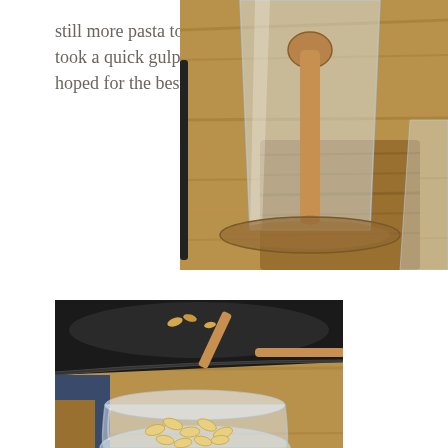still more pasta to go.  I took a quick gulp and hoped for the best.
[Figure (photo): Close-up photo of a clear plastic cup with a wooden spoon inside, sitting on a wooden surface. Another glass container is partially visible on the right.]
[Figure (photo): Photo of a dark non-stick pan with a small amount of macaroni pasta and a wooden spoon, with a clear plastic container in the foreground holding a portion of plain macaroni pasta on a wooden surface.]